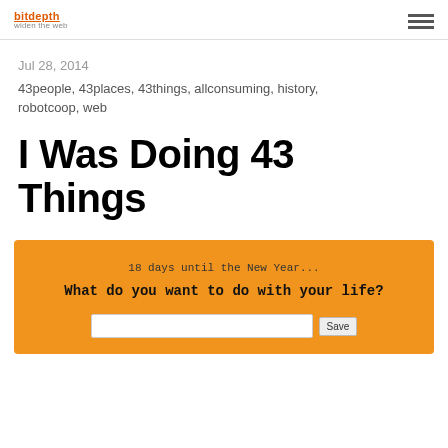bitdepth widen the web
Jul 28, 2014
43people, 43places, 43things, allconsuming, history, robotcoop, web
I Was Doing 43 Things
[Figure (screenshot): Screenshot of 43Things website with orange background showing: '18 days until the New Year...' and 'What do you want to do with your life?' with a text input field and Save button]